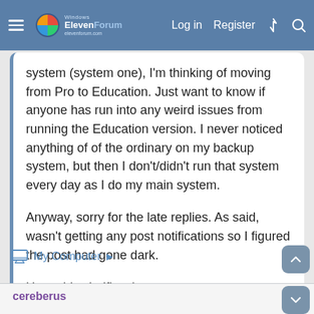Windows ElevenForum | Log in | Register
system (system one), I'm thinking of moving from Pro to Education. Just want to know if anyone has run into any weird issues from running the Education version. I never noticed anything of of the ordinary on my backup system, but then I don't/didn't run that system every day as I do my main system.

Anyway, sorry for the late replies. As said, wasn't getting any post notifications so I figured the post had gone dark.

Hope this clarifies :)
My Computer
cereberus